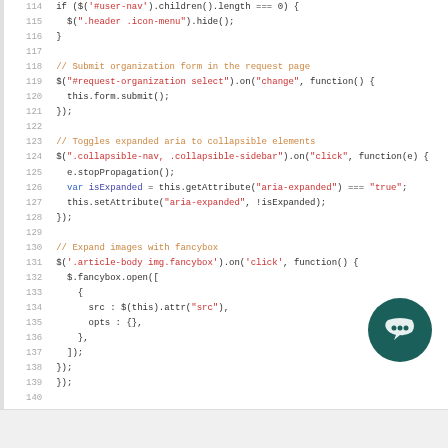[Figure (screenshot): Code editor screenshot showing JavaScript lines 114-140 with syntax highlighting. Comments in orange, jQuery selectors in blue, strings in red, keywords in blue.]